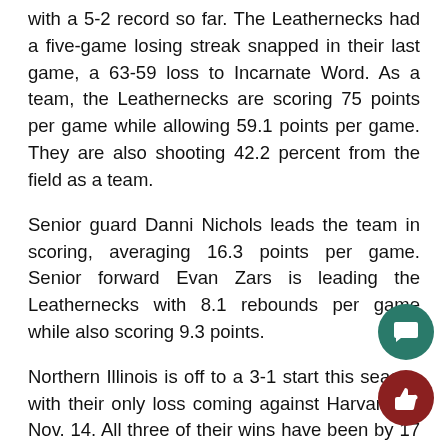with a 5-2 record so far. The Leathernecks had a five-game losing streak snapped in their last game, a 63-59 loss to Incarnate Word. As a team, the Leathernecks are scoring 75 points per game while allowing 59.1 points per game. They are also shooting 42.2 percent from the field as a team.
Senior guard Danni Nichols leads the team in scoring, averaging 16.3 points per game. Senior forward Evan Zars is leading the Leathernecks with 8.1 rebounds per game while also scoring 9.3 points.
Northern Illinois is off to a 3-1 start this season with their only loss coming against Harvard on Nov. 14. All three of their wins have been by 17 or more points.
The Huskies are averaging 69.8 points per game this season and are outscoring their opponents by an average of 10 points per game.